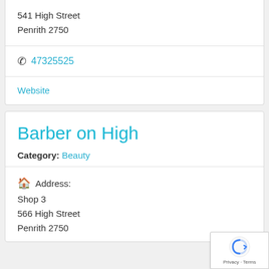541 High Street
Penrith 2750
47325525
Website
Barber on High
Category: Beauty
Address:
Shop 3
566 High Street
Penrith 2750